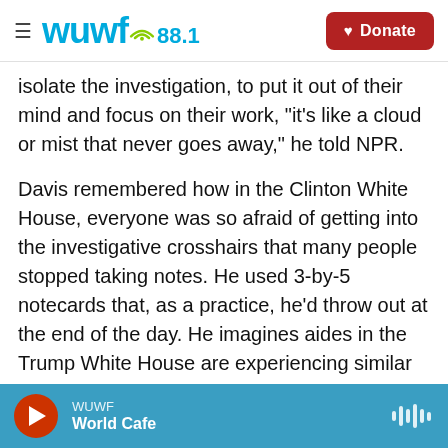WUWF 88.1 | Donate
isolate the investigation, to put it out of their mind and focus on their work, "it's like a cloud or mist that never goes away," he told NPR.
Davis remembered how in the Clinton White House, everyone was so afraid of getting into the investigative crosshairs that many people stopped taking notes. He used 3-by-5 notecards that, as a practice, he'd throw out at the end of the day. He imagines aides in the Trump White House are experiencing similar highs and lows.
"You're so thrilled to be there, and when you walk
WUWF | World Cafe